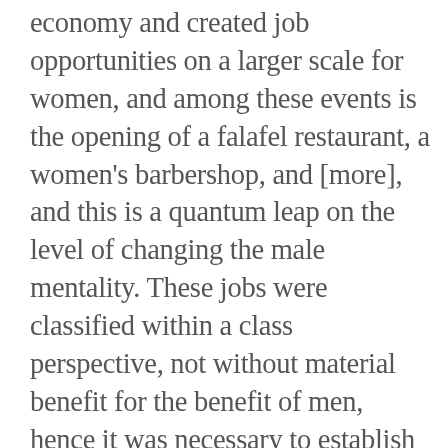economy and created job opportunities on a larger scale for women, and among these events is the opening of a falafel restaurant, a women's barbershop, and [more], and this is a quantum leap on the level of changing the male mentality. These jobs were classified within a class perspective, not without material benefit for the benefit of men, hence it was necessary to establish an economy for women. To break the restrictions imposed on them and openness to the field of work, encourage women to innovate, and create a motivation engine for them to search for means of production that allow them to have stability, and a decent life.